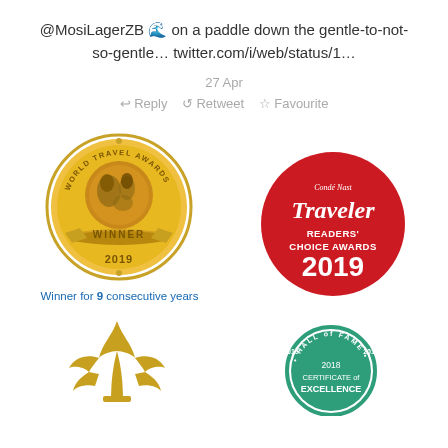@MosiLagerZB 🌊 on a paddle down the gentle-to-not-so-gentle… twitter.com/i/web/status/1…
27 Apr
↩ Reply  ↺ Retweet  ☆ Favourite
[Figure (logo): World Travel Awards Winner 2019 gold medallion logo]
Winner for 9 consecutive years
[Figure (logo): Condé Nast Traveler Readers' Choice Awards 2019 red circle logo]
[Figure (logo): Gold fleur-de-lis symbol]
[Figure (logo): Hall of Fame 2015-2016 Certificate of Excellence 2018 green circle badge]